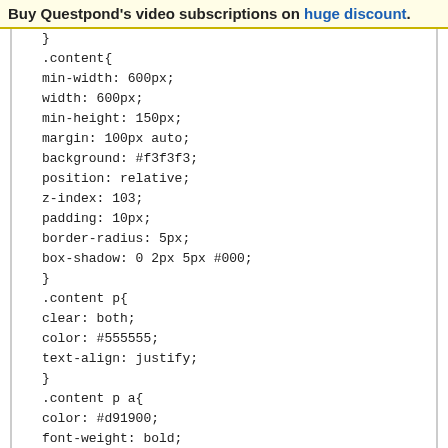Buy Questpond's video subscriptions on huge discount.
}
.content{
min-width: 600px;
width: 600px;
min-height: 150px;
margin: 100px auto;
background: #f3f3f3;
position: relative;
z-index: 103;
padding: 10px;
border-radius: 5px;
box-shadow: 0 2px 5px #000;
}
.content p{
clear: both;
color: #555555;
text-align: justify;
}
.content p a{
color: #d91900;
font-weight: bold;
}